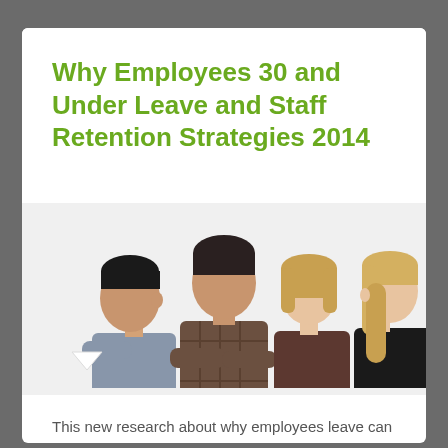Why Employees 30 and Under Leave and Staff Retention Strategies 2014
[Figure (photo): Four young professionals standing back-to-back: an Asian man in a grey shirt facing left, a dark-haired man in a brown checkered shirt facing camera, a young blonde woman facing camera, and a blonde woman in a black top facing right.]
This new research about why employees leave can inform staff retention strategies for staff who